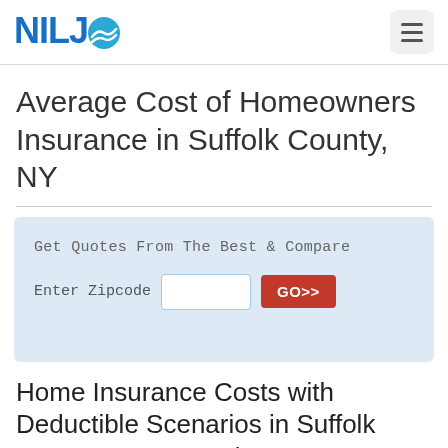NILJO [logo with globe icon]
Average Cost of Homeowners Insurance in Suffolk County, NY
Get Quotes From The Best & Compare
Enter Zipcode   [input]  GO>>
Home Insurance Costs with Deductible Scenarios in Suffolk County, NY & Nearby